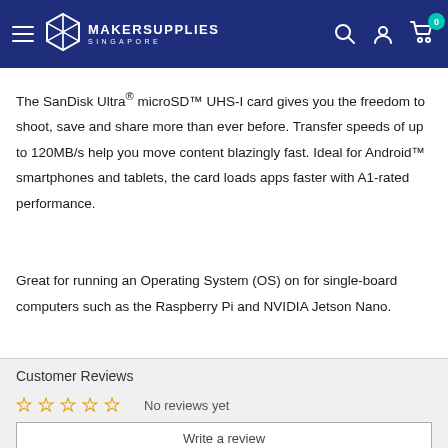MakerSupplies Singapore — navigation header with hamburger menu, search, account, and cart (0 items)
The SanDisk Ultra® microSD™ UHS-I card gives you the freedom to shoot, save and share more than ever before. Transfer speeds of up to 120MB/s help you move content blazingly fast. Ideal for Android™ smartphones and tablets, the card loads apps faster with A1-rated performance.
Great for running an Operating System (OS) on for single-board computers such as the Raspberry Pi and NVIDIA Jetson Nano.
Customer Reviews
☆☆☆☆☆ No reviews yet
Write a review